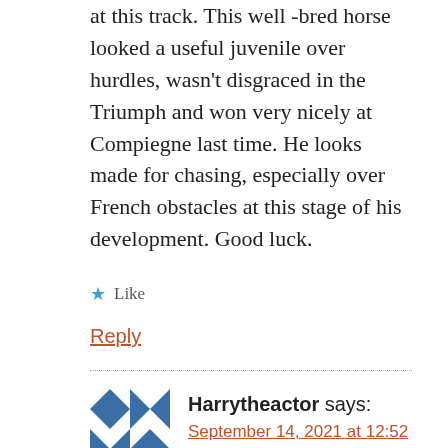at this track. This well-bred horse looked a useful juvenile over hurdles, wasn't disgraced in the Triumph and won very nicely at Compiegne last time. He looks made for chasing, especially over French obstacles at this stage of his development. Good luck.
★ Like
Reply
Harrytheactor says:
September 14, 2021 at 12:52 pm
He jumped well enough until an awkward leap